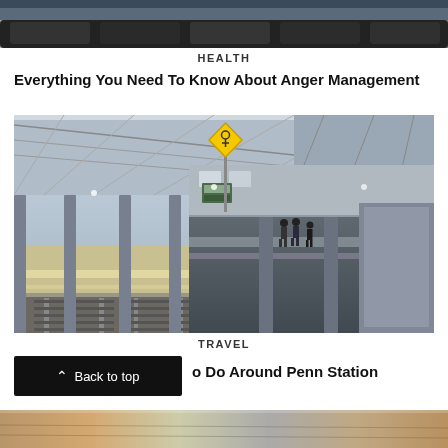[Figure (photo): Partial top of a photo showing what appears to be a train interior or similar dark transit scene]
HEALTH
Everything You Need To Know About Anger Management
[Figure (photo): A Japanese train station platform with railway tracks, overhead shelter/canopy, a yellow diamond caution sign, columns, and a few people waiting on the platform. A train is visible in the distance.]
TRAVEL
Back to top
o Do Around Penn Station
[Figure (photo): Partial bottom photo, appears to show a wooden or indoor surface]